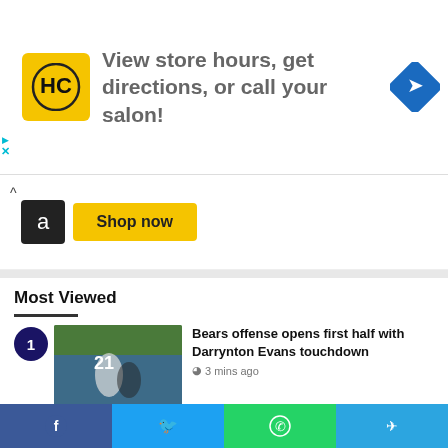[Figure (infographic): Advertisement banner: HC logo (yellow square), text 'View store hours, get directions, or call your salon!', blue diamond arrow icon on the right. Ad indicator with triangle and X on left side.]
[Figure (infographic): Amazon 'Shop now' strip with chevron up, Amazon logo, and yellow Shop now button.]
Most Viewed
Bears offense opens first half with Darrynton Evans touchdown — 3 mins ago
Seahawks RT Abe Lucas continues to demolish opposing defenders — 6 mins ago
[Figure (infographic): Social share bar with Facebook, Twitter, WhatsApp, and Telegram buttons.]